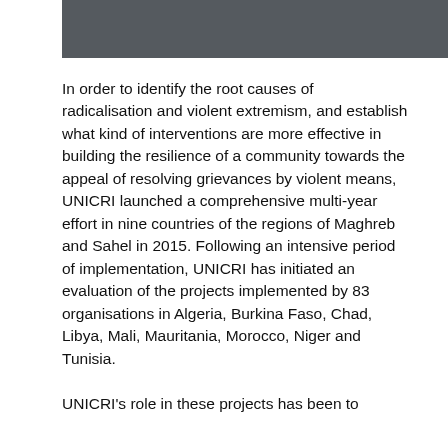[Figure (other): Dark grey header bar at the top of the page]
In order to identify the root causes of radicalisation and violent extremism, and establish what kind of interventions are more effective in building the resilience of a community towards the appeal of resolving grievances by violent means, UNICRI launched a comprehensive multi-year effort in nine countries of the regions of Maghreb and Sahel in 2015. Following an intensive period of implementation, UNICRI has initiated an evaluation of the projects implemented by 83 organisations in Algeria, Burkina Faso, Chad, Libya, Mali, Mauritania, Morocco, Niger and Tunisia.
UNICRI's role in these projects has been to